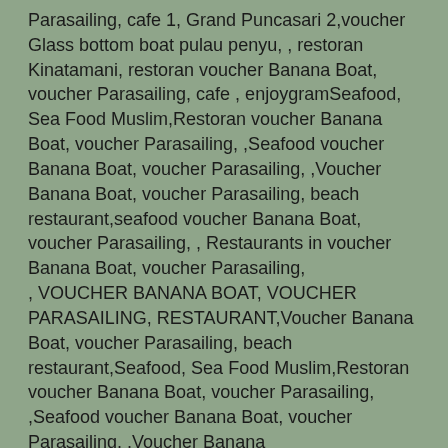Parasailing, cafe 1, Grand Puncasari 2,voucher Glass bottom boat pulau penyu, , restoran Kinatamani, restoran voucher Banana Boat, voucher Parasailing, cafe , enjoygramSeafood, Sea Food Muslim,Restoran voucher Banana Boat, voucher Parasailing, ,Seafood voucher Banana Boat, voucher Parasailing, ,Voucher Banana Boat, voucher Parasailing, beach restaurant,seafood voucher Banana Boat, voucher Parasailing, , Restaurants in voucher Banana Boat, voucher Parasailing, , VOUCHER BANANA BOAT, VOUCHER PARASAILING, RESTAURANT,Voucher Banana Boat, voucher Parasailing, beach restaurant,Seafood, Sea Food Muslim,Restoran voucher Banana Boat, voucher Parasailing, ,Seafood voucher Banana Boat, voucher Parasailing, ,Voucher Banana Boat, voucher Parasailing, beach restaurant,seafood voucher Banana Boat, voucher Parasailing, , Restaurants in voucher Banana Boat, voucher Parasailing, , VOUCHER BANANA BOAT, VOUCHER PARASAILING, RESTAURANT,Voucher Banana Boat, voucher Parasailing, beach restaurant,mv, diss07Terjemahkan laman ini